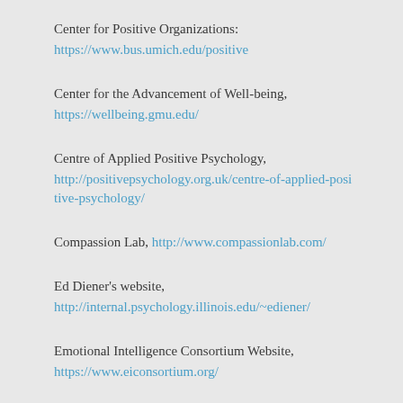Center for Positive Organizations: https://www.bus.umich.edu/positive
Center for the Advancement of Well-being, https://wellbeing.gmu.edu/
Centre of Applied Positive Psychology, http://positivepsychology.org.uk/centre-of-applied-positive-psychology/
Compassion Lab, http://www.compassionlab.com/
Ed Diener's website, http://internal.psychology.illinois.edu/~ediener/
Emotional Intelligence Consortium Website, https://www.eiconsortium.org/